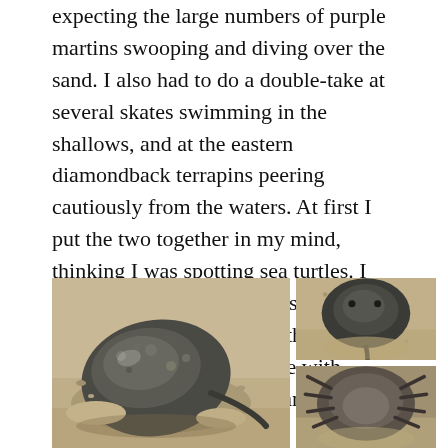expecting the large numbers of purple martins swooping and diving over the sand. I also had to do a double-take at several skates swimming in the shallows, and at the eastern diamondback terrapins peering cautiously from the waters. At first I put the two together in my mind, thinking I was spotting sea turtles. I may have nerded out extensively before I figured out the truth… but this was OK, because I was fine with nerding out over the truth anyway.
[Figure (photo): Three photos of horseshoe crabs on a sandy beach. Left: large horseshoe crab partially buried in sand, close-up view. Top right: horseshoe crab viewed from above in sand. Bottom right: underside/legs of a horseshoe crab visible in sand.]